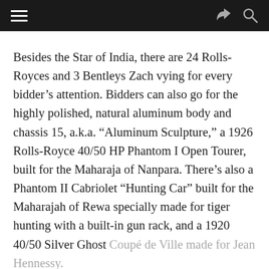Navigation bar with hamburger menu, share icon, and search icon
Besides the Star of India, there are 24 Rolls-Royces and 3 Bentleys Zach vying for every bidder's attention. Bidders can also go for the highly polished, natural aluminum body and chassis 15, a.k.a. “Aluminum Sculpture,” a 1926 Rolls-Royce 40/50 HP Phantom I Open Tourer, built for the Maharaja of Nanpara. There’s also a Phantom II Cabriolet “Hunting Car” built for the Maharajah of Rewa specially made for tiger hunting with a built-in gun rack, and a 1920 40/50 Silver Ghost Coupé de Ville made for Jean Hennessy. The auction is expected to begin in September. A unique